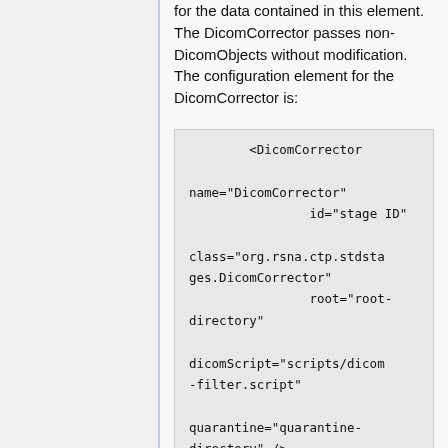for the data contained in this element. The DicomCorrector passes non-DicomObjects without modification. The configuration element for the DicomCorrector is: